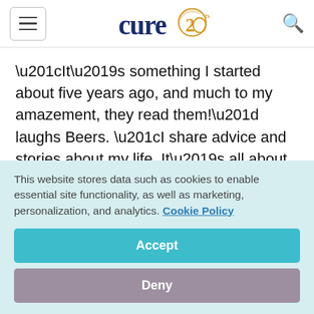cure20 [logo]
“It’s something I started about five years ago, and much to my amazement, they read them!” laughs Beers. “I share advice and stories about my life. It’s all about legacy — if you don’t know where you came from, you don’t know where you’re going.”
In December 2019, Beers’ life veered in a surprising
This website stores data such as cookies to enable essential site functionality, as well as marketing, personalization, and analytics. Cookie Policy
Accept
Deny